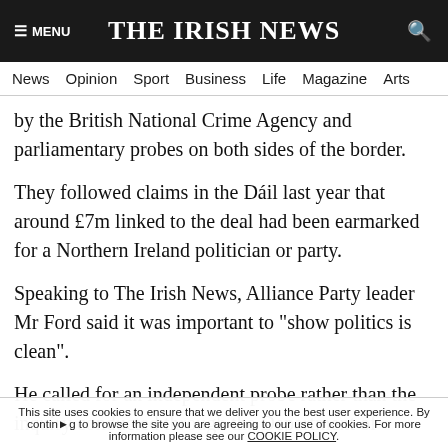MENU | THE IRISH NEWS
News Opinion Sport Business Life Magazine Arts
by the British National Crime Agency and parliamentary probes on both sides of the border.
They followed claims in the Dáil last year that around £7m linked to the deal had been earmarked for a Northern Ireland politician or party.
Speaking to The Irish News, Alliance Party leader Mr Ford said it was important to "show politics is clean".
He called for an independent probe rather than the inquiry conducted through the Department of
"We need a proper independent inquiry. With no
This site uses cookies to ensure that we deliver you the best user experience. By continuing to browse the site you are agreeing to our use of cookies. For more information please see our COOKIE POLICY.